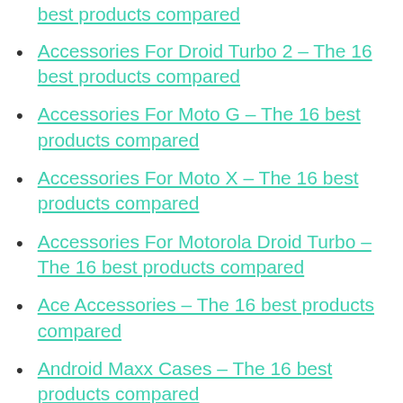best products compared
Accessories For Droid Turbo 2 – The 16 best products compared
Accessories For Moto G – The 16 best products compared
Accessories For Moto X – The 16 best products compared
Accessories For Motorola Droid Turbo – The 16 best products compared
Ace Accessories – The 16 best products compared
Android Maxx Cases – The 16 best products compared